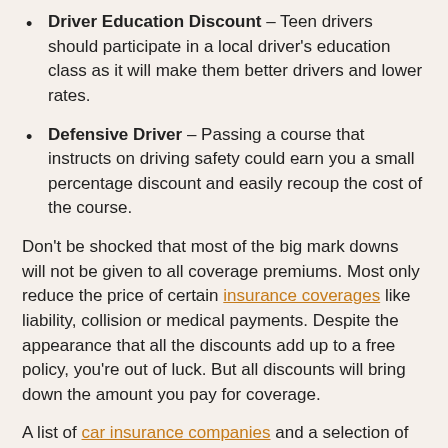Driver Education Discount – Teen drivers should participate in a local driver's education class as it will make them better drivers and lower rates.
Defensive Driver – Passing a course that instructs on driving safety could earn you a small percentage discount and easily recoup the cost of the course.
Don't be shocked that most of the big mark downs will not be given to all coverage premiums. Most only reduce the price of certain insurance coverages like liability, collision or medical payments. Despite the appearance that all the discounts add up to a free policy, you're out of luck. But all discounts will bring down the amount you pay for coverage.
A list of car insurance companies and a selection of discounts are:
GEICO discounts include good student, seat belt use, federal employee, driver training, multi-vehicle, military active duty, and membership and employees.
USAA offers premium reductions for loyalty savings,